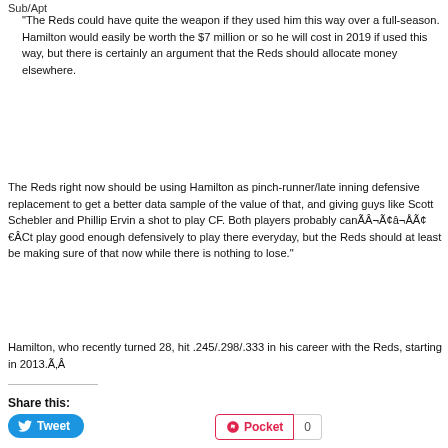Sub/Apt
“The Reds could have quite the weapon if they used him this way over a full-season. Hamilton would easily be worth the $7 million or so he will cost in 2019 if used this way, but there is certainly an argument that the Reds should allocate money elsewhere.
The Reds right now should be using Hamilton as pinch-runner/late inning defensive replacement to get a better data sample of the value of that, and giving guys like Scott Schebler and Phillip Ervin a shot to play CF. Both players probably canÃÂ¬Ã¢â€ºÃ¢t play good enough defensively to play there everyday, but the Reds should at least be making sure of that now while there is nothing to lose.”
Hamilton, who recently turned 28, hit .245/.298/.333 in his career with the Reds, starting in 2013.ÃÂ
Share this:
Tweet
Pocket 0